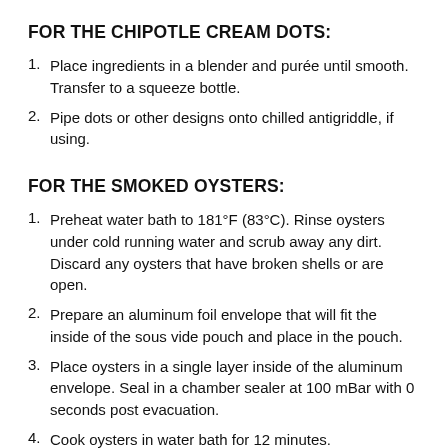FOR THE CHIPOTLE CREAM DOTS:
Place ingredients in a blender and purée until smooth. Transfer to a squeeze bottle.
Pipe dots or other designs onto chilled antigriddle, if using.
FOR THE SMOKED OYSTERS:
Preheat water bath to 181°F (83°C). Rinse oysters under cold running water and scrub away any dirt. Discard any oysters that have broken shells or are open.
Prepare an aluminum foil envelope that will fit the inside of the sous vide pouch and place in the pouch.
Place oysters in a single layer inside of the aluminum envelope. Seal in a chamber sealer at 100 mBar with 0 seconds post evacuation.
Cook oysters in water bath for 12 minutes.